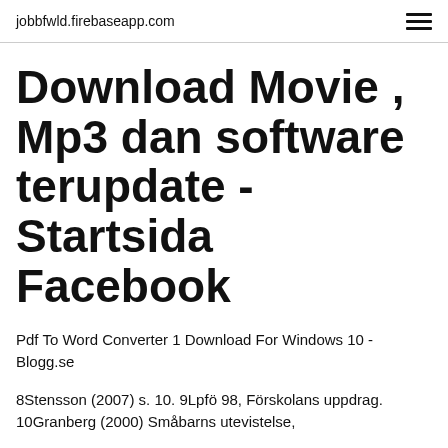jobbfwld.firebaseapp.com
Download Movie , Mp3 dan software terupdate - Startsida Facebook
Pdf To Word Converter 1 Download For Windows 10 - Blogg.se
8Stensson (2007) s. 10. 9Lpfö 98, Förskolans uppdrag. 10Granberg (2000) Småbarns utevistelse,